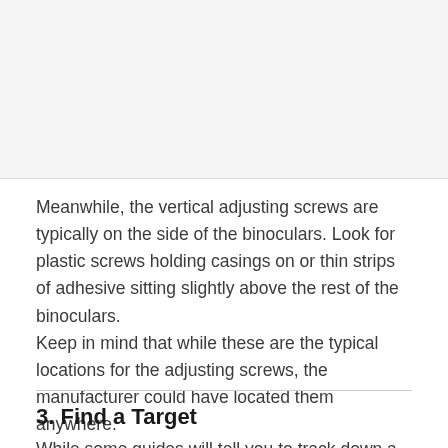[Figure (photo): Placeholder image area showing a light gray background, likely containing a photo of binoculars.]
Meanwhile, the vertical adjusting screws are typically on the side of the binoculars. Look for plastic screws holding casings on or thin strips of adhesive sitting slightly above the rest of the binoculars.
Keep in mind that while these are the typical locations for the adjusting screws, the manufacturer could have located them anywhere.
3. Find a Target
While some guides will tell you to track down a lake or